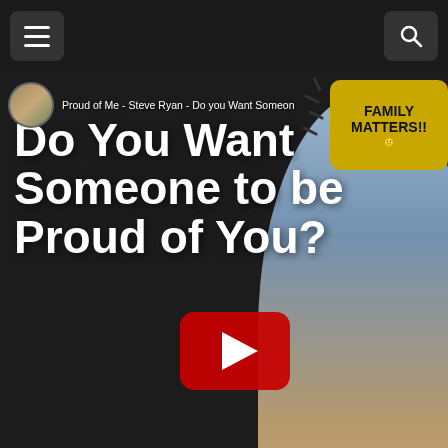[Figure (screenshot): Navigation bar with hamburger menu on left and search icon on right, dark background]
[Figure (screenshot): YouTube video thumbnail for 'Proud of Me - Steve Ryan - Do you Want Someone to be Proud of You?' with large white text, YouTube play button, blue WE ALL WANT TO BE LOVED!!! button, portrait of smiling man, speech bubble saying FAMILY MATTERS!!, and Spotify card at bottom]
Watch o
Diver
[Figure (screenshot): Advertisement overlay: Smoothie King 'Get In On The Buzz' ad with logo, headline text, blue arrow button, and X close button]